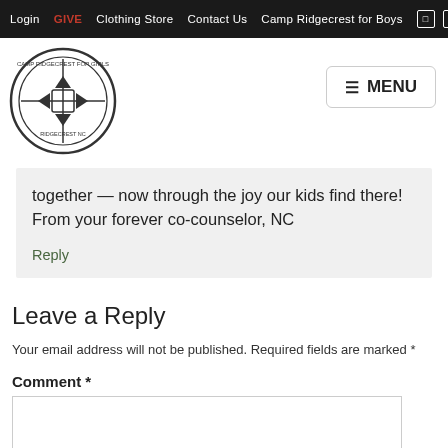Login  GIVE  Clothing Store  Contact Us  Camp Ridgecrest for Boys
together — now through the joy our kids find there! From your forever co-counselor, NC
Reply
Leave a Reply
Your email address will not be published. Required fields are marked *
Comment *